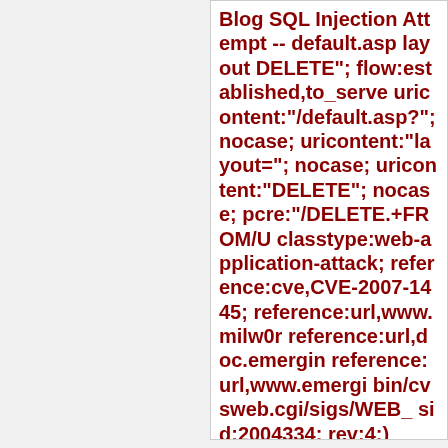Blog SQL Injection Attempt -- default.asp layout DELETE"; flow:established,to_server; uricontent:"/default.asp?"; nocase; uricontent:"layout="; nocase; uricontent:"DELETE"; nocase; pcre:"/DELETE.+FROM/U; classtype:web-application-attack; reference:cve,CVE-2007-1445; reference:url,www.milw0r... reference:url,doc.emergin... reference:url,www.emergi... bin/cvsweb.cgi/sigs/WEB_... sid:2004334; rev:4;)